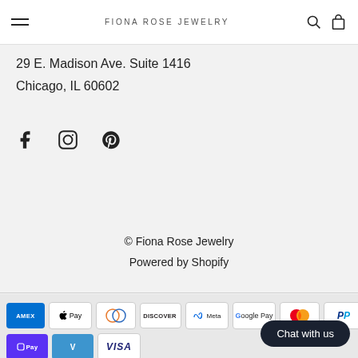FIONA ROSE JEWELRY
29 E. Madison Ave. Suite 1416
Chicago, IL 60602
[Figure (other): Social media icons: Facebook, Instagram, Pinterest]
© Fiona Rose Jewelry
Powered by Shopify
[Figure (other): Payment method icons: American Express, Apple Pay, Diners Club, Discover, Meta Pay, Google Pay, Mastercard, PayPal, Shop Pay, Venmo, Visa]
Chat with us